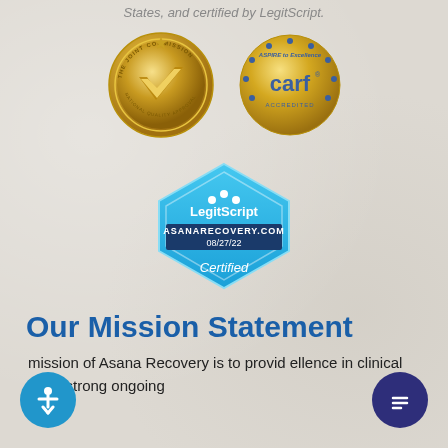States, and certified by LegitScript.
[Figure (logo): The Joint Commission National Quality Approval gold seal badge]
[Figure (logo): CARF Accredited - Aspire to Excellence gold seal badge]
[Figure (logo): LegitScript Certified badge - ASANARECOVERY.COM 08/27/22 Certified]
Our Mission Statement
mission of Asana Recovery is to provide ellence in clinical care, strong ongoing and family involvement, continuing...